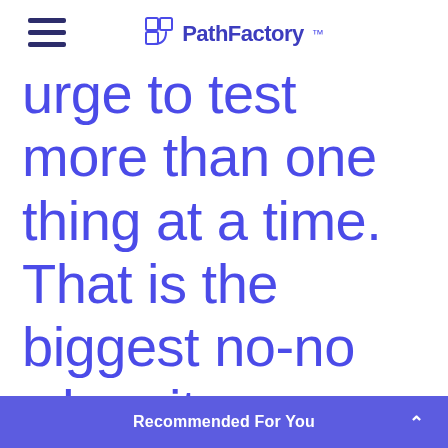PathFactory
urge to test more than one thing at a time. That is the biggest no-no when it comes to A/B testing. You test one thing."
Recommended For You